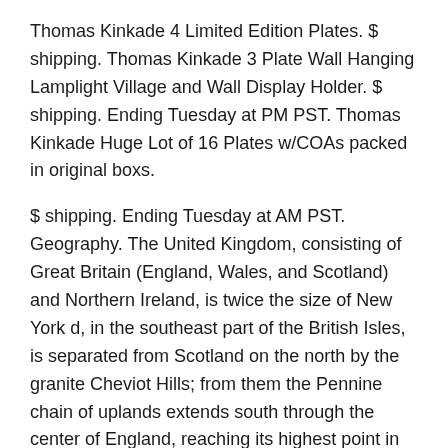Thomas Kinkade 4 Limited Edition Plates. $ shipping. Thomas Kinkade 3 Plate Wall Hanging Lamplight Village and Wall Display Holder. $ shipping. Ending Tuesday at PM PST. Thomas Kinkade Huge Lot of 16 Plates w/COAs packed in original boxs.
$ shipping. Ending Tuesday at AM PST. Geography. The United Kingdom, consisting of Great Britain (England, Wales, and Scotland) and Northern Ireland, is twice the size of New York d, in the southeast part of the British Isles, is separated from Scotland on the north by the granite Cheviot Hills; from them the Pennine chain of uplands extends south through the center of England, reaching its highest point in the.
United Kingdom – Calendar with British holidays. Yearly calendar showing months for the year Calendars – online and print friendly – for any year and month.
The voice of the countryside Country Life, the quintessential English magazine, is undoubtedly one of the biggest and instantly recognisable brands in the UK today. The magazine comments in